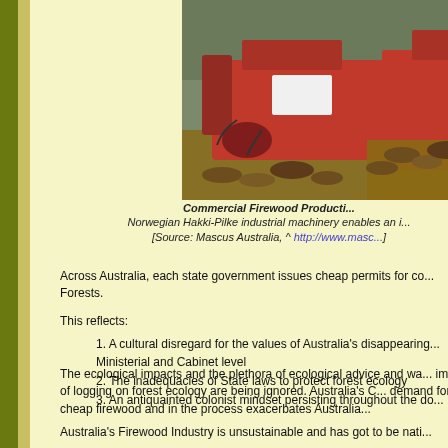[Figure (photo): Red Norwegian Hakki-Pilke industrial firewood processing machinery surrounded by logs outdoors]
Commercial Firewood Production
Norwegian Hakki-Pilke industrial machinery enables an i...
[Source: Mascus Australia, ^ http://www.masc...
Across Australia, each state government issues cheap permits for co... Forests.
This reflects:
1. A cultural disregard for the values of Australia's disappearing... Ministerial and Cabinet level
2. The inadequacies of State laws to protect forest ecology
3. An antiquainted colonist mindset persisting throughout the do...
The ecological impacts and the plethora of ecological advice and wa... impacts of logging on forest ecology are being ignored. Australia's C... demand for cheap firewood and in the process exacerbates Australia...
Australia's Firewood Industry is unsustainable and has got to be nati...